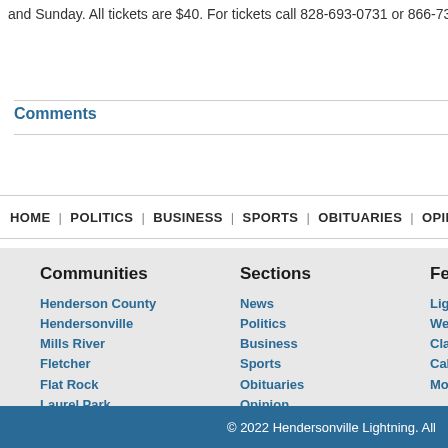and Sunday. All tickets are $40. For tickets call 828-693-0731 or 866-732-8008 go
Comments
HOME | POLITICS | BUSINESS | SPORTS | OBITUARIES | OPINION | LIFE | M
Communities
Henderson County
Hendersonville
Mills River
Fletcher
Flat Rock
Laurel Park
Etowah
Edneyville
Green River
Saluda
North Carolina
Sections
News
Politics
Business
Sports
Obituaries
Opinion
Life
MossBlog
Politics
Community News
Features
Lightning Pho
Web Poll
Classifieds
Calendar of Ev
Mobile Edition
© 2022 Hendersonville Lightning. All